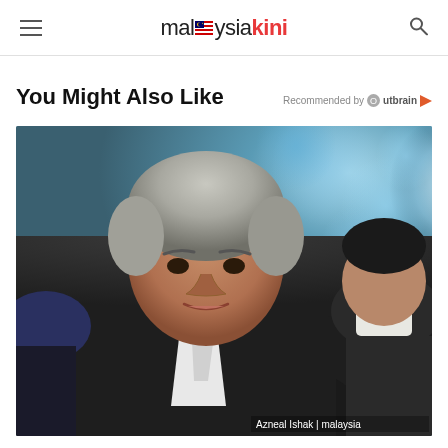malaysiakini
You Might Also Like
Recommended by Outbrain
[Figure (photo): A man in a dark suit with grey hair speaking; another person in white background right wearing mask; blurred blue background with bokeh lighting. Watermark: Azneal Ishak | malaysiakini]
Azneal Ishak | malaysia